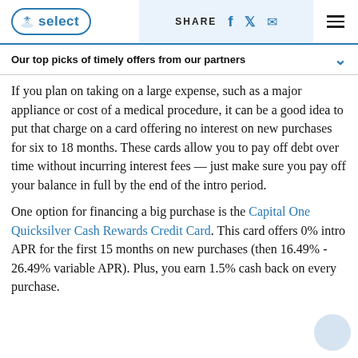NBC Select | SHARE [facebook] [twitter] [email] [menu]
Our top picks of timely offers from our partners
If you plan on taking on a large expense, such as a major appliance or cost of a medical procedure, it can be a good idea to put that charge on a card offering no interest on new purchases for six to 18 months. These cards allow you to pay off debt over time without incurring interest fees — just make sure you pay off your balance in full by the end of the intro period.
One option for financing a big purchase is the Capital One Quicksilver Cash Rewards Credit Card. This card offers 0% intro APR for the first 15 months on new purchases (then 16.49% - 26.49% variable APR). Plus, you earn 1.5% cash back on every purchase.